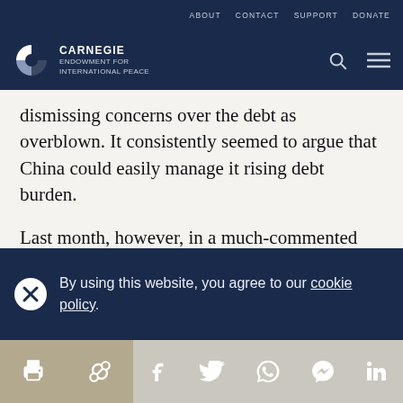ABOUT   CONTACT   SUPPORT   DONATE
[Figure (logo): Carnegie Endowment for International Peace logo with search and menu icons]
dismissing concerns over the debt as overblown. It consistently seemed to argue that China could easily manage it rising debt burden.
Last month, however, in a much-commented departure, the Economist suddenly reversed
By using this website, you agree to our cookie policy.
Share icons: print, link, Facebook, Twitter, WhatsApp, Messenger, LinkedIn